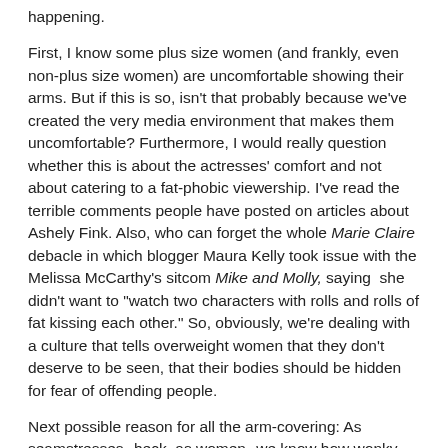happening.
First, I know some plus size women (and frankly, even non-plus size women) are uncomfortable showing their arms. But if this is so, isn't that probably because we've created the very media environment that makes them uncomfortable? Furthermore, I would really question whether this is about the actresses' comfort and not about catering to a fat-phobic viewership. I've read the terrible comments people have posted on articles about Ashely Fink. Also, who can forget the whole Marie Claire debacle in which blogger Maura Kelly took issue with the Melissa McCarthy's sitcom Mike and Molly, saying she didn't want to "watch two characters with rolls and rolls of fat kissing each other." So, obviously, we're dealing with a culture that tells overweight women that they don't deserve to be seen, that their bodies should be hidden for fear of offending people.
Next possible reason for all the arm-covering: As seamstresses--heck, as women--we know how wonky ready-to-wear sizes are. Even sewing patterns usually don't extend beyond a size 20, the equivalent of a 14 in retail sizes. So